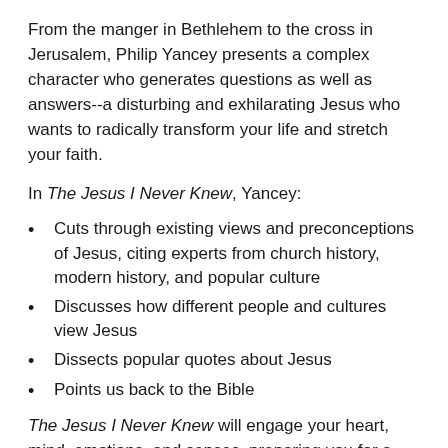From the manger in Bethlehem to the cross in Jerusalem, Philip Yancey presents a complex character who generates questions as well as answers--a disturbing and exhilarating Jesus who wants to radically transform your life and stretch your faith.
In The Jesus I Never Knew, Yancey:
Cuts through existing views and preconceptions of Jesus, citing experts from church history, modern history, and popular culture
Discusses how different people and cultures view Jesus
Dissects popular quotes about Jesus
Points us back to the Bible
The Jesus I Never Knew will engage your heart, mind, emotions, and senses, preparing you for a new, life-changing encounter with the real Jesus described in the Gospels.